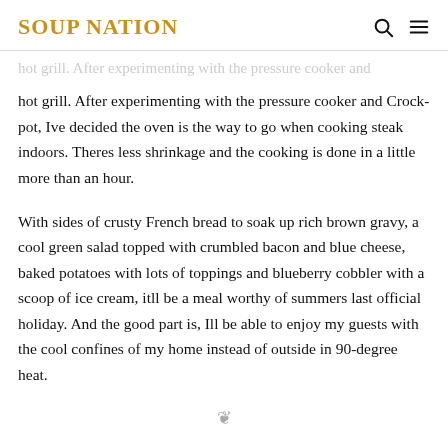SOUP NATION
hot grill. After experimenting with the pressure cooker and Crock-pot, Ive decided the oven is the way to go when cooking steak indoors. Theres less shrinkage and the cooking is done in a little more than an hour.
With sides of crusty French bread to soak up rich brown gravy, a cool green salad topped with crumbled bacon and blue cheese, baked potatoes with lots of toppings and blueberry cobbler with a scoop of ice cream, itll be a meal worthy of summers last official holiday. And the good part is, Ill be able to enjoy my guests with the cool confines of my home instead of outside in 90-degree heat.